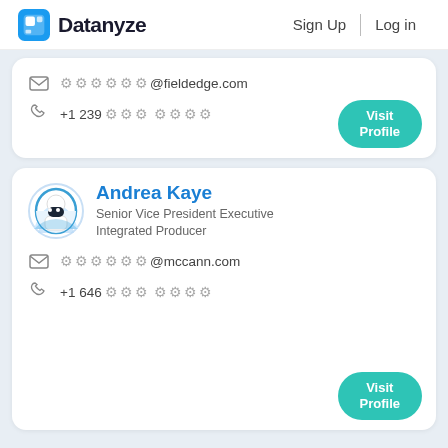Datanyze | Sign Up | Log in
✉ ••••••@fieldedge.com
☎ +1 239 ••• ••••
Visit Profile
Andrea Kaye
Senior Vice President Executive Integrated Producer
✉ ••••••@mccann.com
☎ +1 646 ••• ••••
Visit Profile